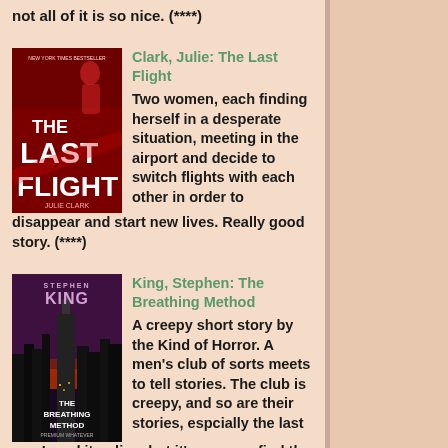not all of it is so nice. (****)
Clark, Julie: The Last Flight
Two women, each finding herself in a desperate situation, meeting in the airport and decide to switch flights with each other in order to disappear and start new lives. Really good story. (****)
King, Stephen: The Breathing Method
A creepy short story by the Kind of Horror. A men's club of sorts meets to tell stories. The club is creepy, and so are their stories, espcially the last one.I read it online, but it's you can find the story in King's anthology DIFFERENT